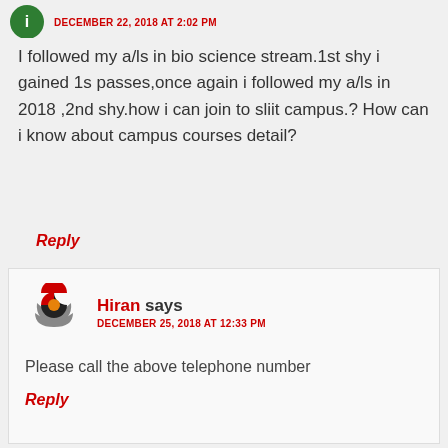DECEMBER 22, 2018 AT 2:02 PM
I followed my a/ls in bio science stream.1st shy i gained 1s passes,once again i followed my a/ls in 2018 ,2nd shy.how i can join to sliit campus.? How can i know about campus courses detail?
Reply
Hiran says
DECEMBER 25, 2018 AT 12:33 PM
Please call the above telephone number
Reply